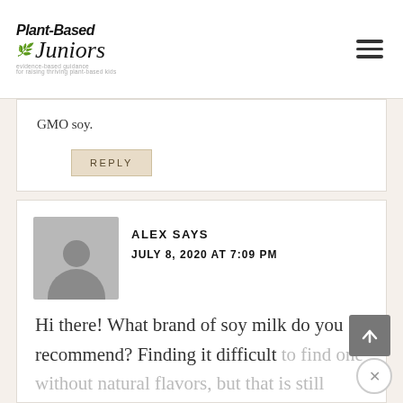[Figure (logo): Plant-Based Juniors logo with leaf icon and tagline]
GMO soy.
REPLY
ALEX SAYS
JULY 8, 2020 AT 7:09 PM
Hi there! What brand of soy milk do you recommend? Finding it difficult to find one without natural flavors, but that is still fortified. Or would